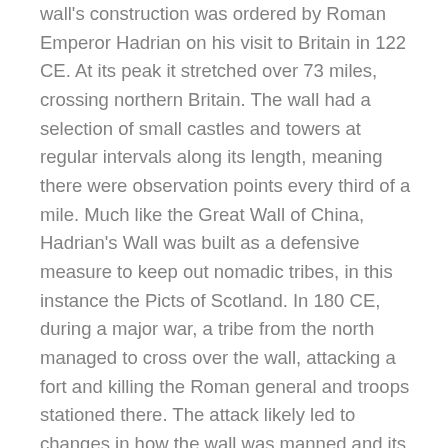wall's construction was ordered by Roman Emperor Hadrian on his visit to Britain in 122 CE. At its peak it stretched over 73 miles, crossing northern Britain. The wall had a selection of small castles and towers at regular intervals along its length, meaning there were observation points every third of a mile. Much like the Great Wall of China, Hadrian's Wall was built as a defensive measure to keep out nomadic tribes, in this instance the Picts of Scotland. In 180 CE, during a major war, a tribe from the north managed to cross over the wall, attacking a fort and killing the Roman general and troops stationed there. The attack likely led to changes in how the wall was manned and its defensive system, but it remained a prominent military installation throughout the Roman occupation of Britain. Following the Roman withdrawal in the fifth century however, Hadrian's wall started to fall into disrepair, the stones used in its construction being quarried to build castles, churches and houses. The Berlin Wall The most short lived of the three walls, but perhaps the most traumatic for those affected by it. The Berlin Wall was a symbol of the Cold